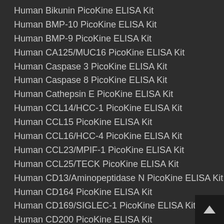Human Bikunin PicoKine ELISA Kit
Human BMP-10 PicoKine ELISA Kit
Human BMP-9 PicoKine ELISA Kit
Human CA125/MUC16 PicoKine ELISA Kit
Human Caspase 3 PicoKine ELISA Kit
Human Caspase 8 PicoKine ELISA Kit
Human Cathepsin E PicoKine ELISA Kit
Human CCL14/HCC-1 PicoKine ELISA Kit
Human CCL15 PicoKine ELISA Kit
Human CCL16/HCC-4 PicoKine ELISA Kit
Human CCL23/MPIF-1 PicoKine ELISA Kit
Human CCL25/TECK PicoKine ELISA Kit
Human CD13/Aminopeptidase N PicoKine ELISA Kit
Human CD164 PicoKine ELISA Kit
Human CD169/SIGLEC-1 PicoKine ELISA Kit
Human CD200 PicoKine ELISA Kit
Human CD209 PicoKine ELISA Kit
Human CD21/CR2 PicoKine ELISA Kit